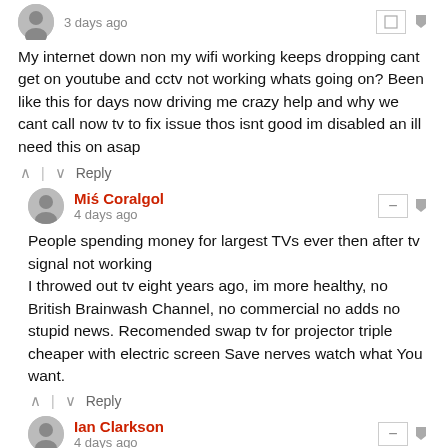3 days ago
My internet down non my wifi working keeps dropping cant get on youtube and cctv not working whats going on? Been like this for days now driving me crazy help and why we cant call now tv to fix issue thos isnt good im disabled an ill need this on asap
Reply
Miś Coralgol
4 days ago
People spending money for largest TVs ever then after tv signal not working
I throwed out tv eight years ago, im more healthy, no British Brainwash Channel, no commercial no adds no stupid news. Recomended swap tv for projector triple cheaper with electric screen Save nerves watch what You want.
Reply
Ian Clarkson
4 days ago
On all my devices it just says that didn't go to plan